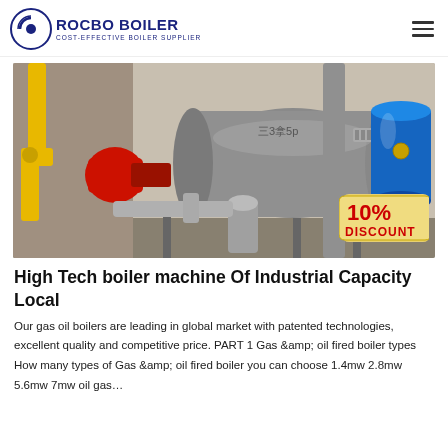ROCBO BOILER — COST-EFFECTIVE BOILER SUPPLIER
[Figure (photo): Industrial gas oil boiler machine in a facility, with red burner on left, silver pipes and cylindrical boiler body, blue pressure tank on right. A '10% DISCOUNT' badge overlay in bottom-right corner.]
High Tech boiler machine Of Industrial Capacity Local
Our gas oil boilers are leading in global market with patented technologies, excellent quality and competitive price. PART 1 Gas &amp; oil fired boiler types How many types of Gas &amp; oil fired boiler you can choose 1.4mw 2.8mw 5.6mw 7mw oil gas…